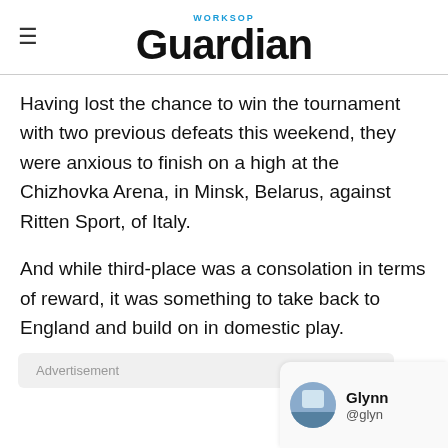WORKSOP Guardian
Having lost the chance to win the tournament with two previous defeats this weekend, they were anxious to finish on a high at the Chizhovka Arena, in Minsk, Belarus, against Ritten Sport, of Italy.
And while third-place was a consolation in terms of reward, it was something to take back to England and build on in domestic play.
Advertisement
Glynn @glyn